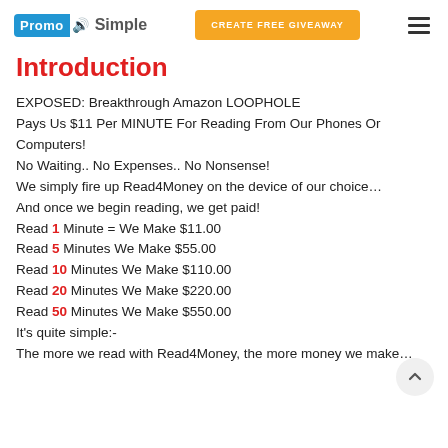PromoSimple | CREATE FREE GIVEAWAY
Introduction
EXPOSED: Breakthrough Amazon LOOPHOLE Pays Us $11 Per MINUTE For Reading From Our Phones Or Computers!
No Waiting.. No Expenses.. No Nonsense!
We simply fire up Read4Money on the device of our choice…
And once we begin reading, we get paid!
Read 1 Minute = We Make $11.00
Read 5 Minutes We Make $55.00
Read 10 Minutes We Make $110.00
Read 20 Minutes We Make $220.00
Read 50 Minutes We Make $550.00
It's quite simple:-
The more we read with Read4Money, the more money we make…